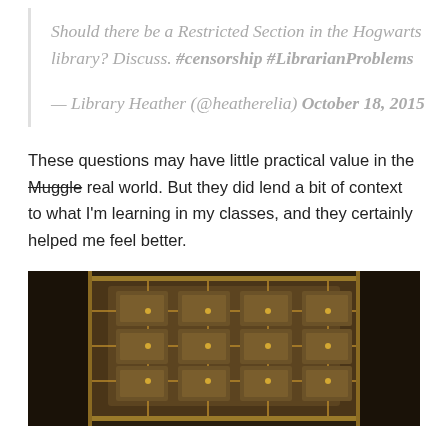Should there be a Restricted Section in the Hogwarts library? Discuss. #censorship #LibrarianProblems
— Library Heather (@heatherelia) October 18, 2015
These questions may have little practical value in the Muggle real world. But they did lend a bit of context to what I'm learning in my classes, and they certainly helped me feel better.
[Figure (photo): Interior photo of an ornate library or historic hall ceiling with elaborate gilded decorative panels and coffered ceiling, viewed from below at an angle. Dark golden-brown tones.]